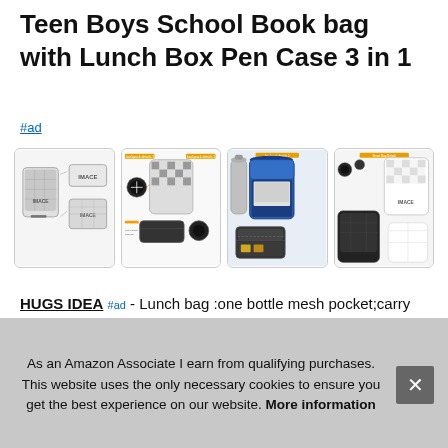Teen Boys School Book bag with Lunch Box Pen Case 3 in 1
#ad
[Figure (photo): Four product images showing a school backpack set with lunch box and pen case. Image 1: front view of checkered backpack with accessories. Image 2: backpack detail/feature callout diagram. Image 3: backpack with lunch box open showing contents. Image 4: backpack set with components laid out.]
HUGS IDEA #ad - Lunch bag :one bottle mesh pocket;carry adjustable shoulder strap;multi-compartments back pocket;made of durable material. Pen case:multi-ring binder zipper closure;with top;organizer pockets inside,best for sports
As an Amazon Associate I earn from qualifying purchases. This website uses the only necessary cookies to ensure you get the best experience on our website. More information